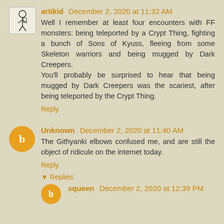[Figure (illustration): Avatar image of artikid: small black and white illustration of a figure with equipment]
artikid December 2, 2020 at 11:32 AM
Well I remember at least four encounters with FF monsters: being teleported by a Crypt Thing, fighting a bunch of Sons of Kyuss, fleeing from some Skeleton warriors and being mugged by Dark Creepers.
You'll probably be surprised to hear that being mugged by Dark Creepers was the scariest, after being teleported by the Crypt Thing.
Reply
[Figure (logo): Orange circle avatar with white blogger 'b' icon for Unknown user]
Unknown December 2, 2020 at 11:40 AM
The Githyanki elbows confused me, and are still the object of ridicule on the internet today.
Reply
▾ Replies
[Figure (logo): Orange circle avatar with white blogger 'b' icon for squeen user]
squeen December 2, 2020 at 12:39 PM